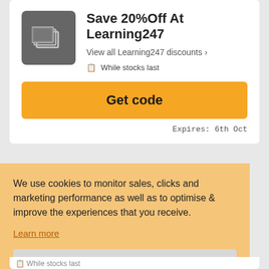[Figure (logo): Learning247 logo — grey rounded square with stacked screen/layers icon in white]
Save 20%Off At Learning247
View all Learning247 discounts >
While stocks last
Get code
Expires: 6th Oct
We use cookies to monitor sales, clicks and marketing performance as well as to optimise & improve the experiences that you receive.
Learn more
GOT IT!